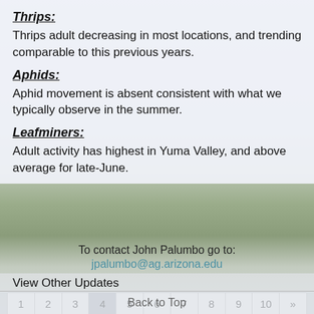Thrips:
Thrips adult decreasing in most locations, and trending comparable to this previous years.
Aphids:
Aphid movement is absent consistent with what we typically observe in the summer.
Leafminers:
Adult activity has highest in Yuma Valley, and above average for late-June.
To contact John Palumbo go to:
jpalumbo@ag.arizona.edu
View Other Updates
1 2 3 4 5 6 7 8 9 10 »
Back to Top